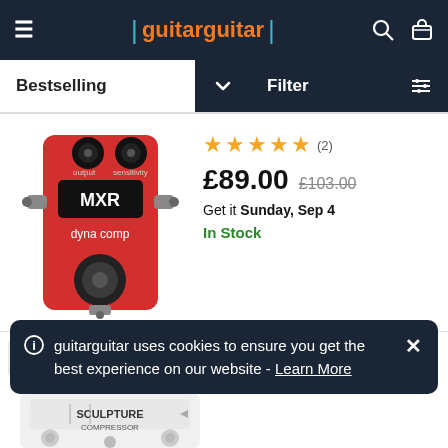guitarguitar
Bestselling
Filter
[Figure (photo): Red MXR Dyna Comp mini guitar pedal]
★★★★★ (2)
£89.00  £103.00
Get it Sunday, Sep 4
In Stock
NUX Sculpture Compressor Pedal
guitarguitar uses cookies to ensure you get the best experience on our website - Learn More